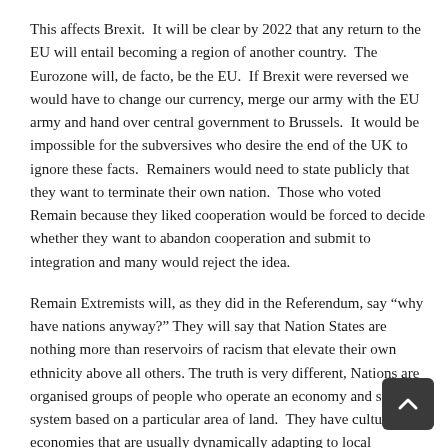This affects Brexit.  It will be clear by 2022 that any return to the EU will entail becoming a region of another country.  The Eurozone will, de facto, be the EU.  If Brexit were reversed we would have to change our currency, merge our army with the EU army and hand over central government to Brussels.  It would be impossible for the subversives who desire the end of the UK to ignore these facts.  Remainers would need to state publicly that they want to terminate their own nation.  Those who voted Remain because they liked cooperation would be forced to decide whether they want to abandon cooperation and submit to integration and many would reject the idea.
Remain Extremists will, as they did in the Referendum, say “why have nations anyway?” They will say that Nation States are nothing more than reservoirs of racism that elevate their own ethnicity above all others. The truth is very different, Nations are organised groups of people who operate an economy and social system based on a particular area of land.  They have cultures and economies that are usually dynamically adapting to local conditions and to the relationship between the locality and the world at large.  Nations are